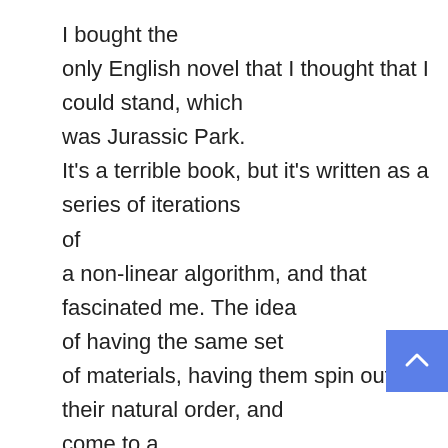I bought the only English novel that I thought that I could stand, which was Jurassic Park. It's a terrible book, but it's written as a series of iterations of a non-linear algorithm, and that fascinated me. The idea of having the same set of materials, having them spin out their natural order, and come to a conclusion – a new set of initial conditions, which then evolves in its turn. You have a series of miniature events, all driven by the same compositional rules, with an overall formal arc created by the succession of those iterations as they follow their initial conditions to their logical end.